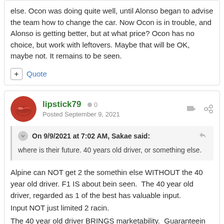else. Ocon was doing quite well, until Alonso began to advise the team how to change the car. Now Ocon is in trouble, and Alonso is getting better, but at what price? Ocon has no choice, but work with leftovers. Maybe that will be OK, maybe not. It remains to be seen.
lipstick79  0  Posted September 9, 2021
On 9/9/2021 at 7:02 AM, Sakae said: where is their future. 40 years old driver, or something else.
Alpine can NOT get 2 the somethin else WITHOUT the 40 year old driver. F1 IS about bein seen.  The 40 year old driver, regarded as 1 of the best has valuable input.
Input NOT just limited 2 racin.
The 40 year old driver BRINGS marketability.  Guaranteein that the Alpine brand WILL B seen, around the world.